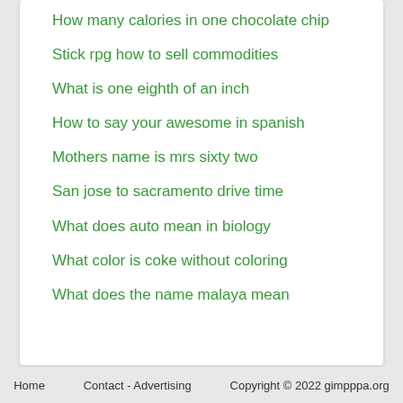How many calories in one chocolate chip
Stick rpg how to sell commodities
What is one eighth of an inch
How to say your awesome in spanish
Mothers name is mrs sixty two
San jose to sacramento drive time
What does auto mean in biology
What color is coke without coloring
What does the name malaya mean
Home   Contact - Advertising   Copyright © 2022 gimpppa.org